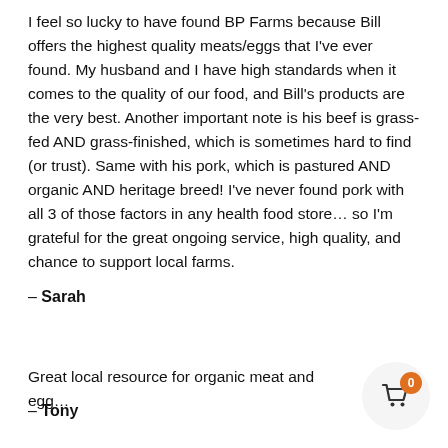I feel so lucky to have found BP Farms because Bill offers the highest quality meats/eggs that I've ever found. My husband and I have high standards when it comes to the quality of our food, and Bill's products are the very best. Another important note is his beef is grass-fed AND grass-finished, which is sometimes hard to find (or trust). Same with his pork, which is pastured AND organic AND heritage breed! I've never found pork with all 3 of those factors in any health food store… so I'm grateful for the great ongoing service, high quality, and chance to support local farms.
– Sarah
Great local resource for organic meat and egg…
– Tony